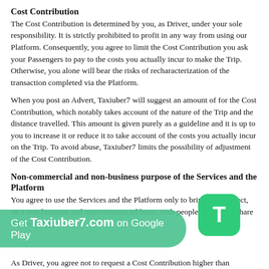Cost Contribution
The Cost Contribution is determined by you, as Driver, under your sole responsibility. It is strictly prohibited to profit in any way from using our Platform. Consequently, you agree to limit the Cost Contribution you ask your Passengers to pay to the costs you actually incur to make the Trip. Otherwise, you alone will bear the risks of recharacterization of the transaction completed via the Platform.
When you post an Advert, Taxiuber7 will suggest an amount of for the Cost Contribution, which notably takes account of the nature of the Trip and the distance travelled. This amount is given purely as a guideline and it is up to you to increase it or reduce it to take account of the costs you actually incur on the Trip. To avoid abuse, Taxiuber7 limits the possibility of adjustment of the Cost Contribution.
Non-commercial and non-business purpose of the Services and the Platform
You agree to use the Services and the Platform only to bring into contact, on a non-business and non-commercial basis, with people wishing to share a Trip with you.
As Driver, you agree not to request a Cost Contribution higher than